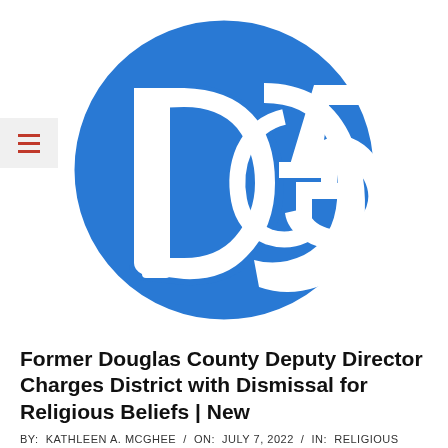[Figure (logo): Douglas County News-Press logo — a circular blue badge with large stylized 'DG' gothic letters in white on a royal blue background]
Former Douglas County Deputy Director Charges District with Dismissal for Religious Beliefs | New
BY: KATHLEEN A. MCGHEE / ON: JULY 7, 2022 / IN: RELIGIOUS